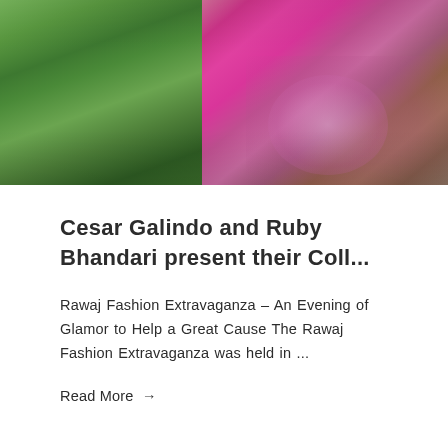[Figure (photo): A woman wearing a vibrant pink and gold traditional Indian garment (saree/anarkali), walking outdoors in a garden setting with green foliage in the background. The lower portion of the dress features ornate embroidery.]
Cesar Galindo and Ruby Bhandari present their Coll...
Rawaj Fashion Extravaganza – An Evening of Glamor to Help a Great Cause The Rawaj Fashion Extravaganza was held in ...
Read More →